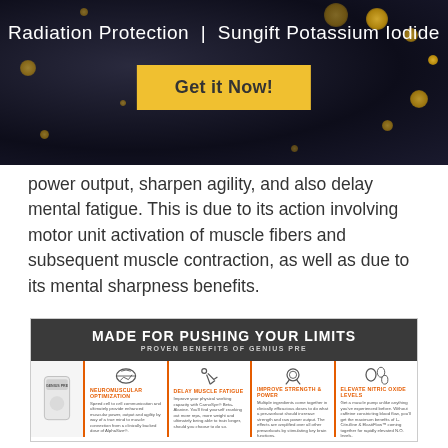Radiation Protection | Sungift Potassium Iodide
Get it Now!
power output, sharpen agility, and also delay mental fatigue. This is due to its action involving motor unit activation of muscle fibers and subsequent muscle contraction, as well as due to its mental sharpness benefits.
[Figure (infographic): Genius Pre promotional infographic showing 'MADE FOR PUSHING YOUR LIMITS - PROVEN BENEFITS OF GENIUS PRE' with four benefit columns: NEUROMUSCULAR OPTIMIZATION, DELAY MUSCLE FATIGUE, IMPROVE STRENGTH & POWER, ELEVATE NITRIC OXIDE LEVELS, each with icons and descriptive text, alongside a product image.]